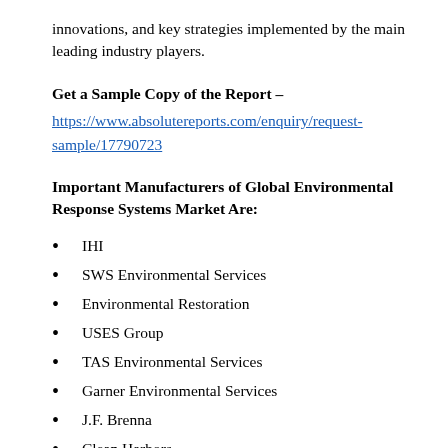innovations, and key strategies implemented by the main leading industry players.
Get a Sample Copy of the Report –
https://www.absolutereports.com/enquiry/request-sample/17790723
Important Manufacturers of Global Environmental Response Systems Market Are:
IHI
SWS Environmental Services
Environmental Restoration
USES Group
TAS Environmental Services
Garner Environmental Services
J.F. Brenna
Clean Harbors
Environmental Response Services